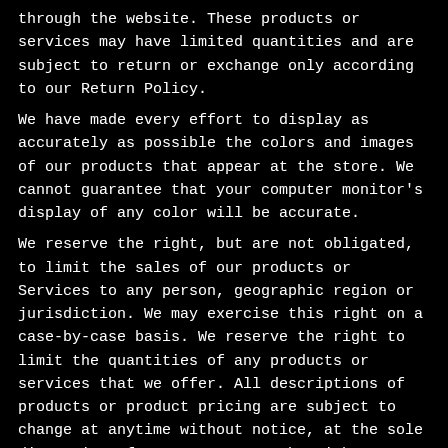through the website. These products or services may have limited quantities and are subject to return or exchange only according to our Return Policy. We have made every effort to display as accurately as possible the colors and images of our products that appear at the store. We cannot guarantee that your computer monitor's display of any color will be accurate. We reserve the right, but are not obligated, to limit the sales of our products or Services to any person, geographic region or jurisdiction. We may exercise this right on a case-by-case basis. We reserve the right to limit the quantities of any products or services that we offer. All descriptions of products or product pricing are subject to change at anytime without notice, at the sole discretion of us. We reserve the right to discontinue any product at any time. Any offer for any product or service made on this site is void where prohibited.